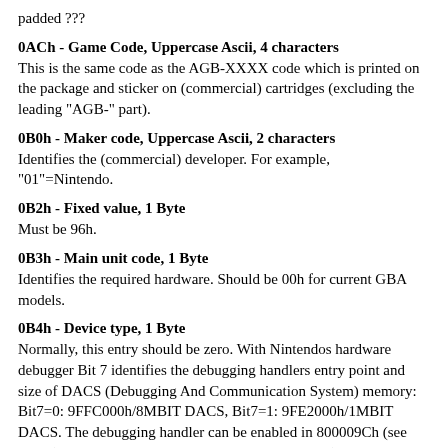padded ???
0ACh - Game Code, Uppercase Ascii, 4 characters
This is the same code as the AGB-XXXX code which is printed on the package and sticker on (commercial) cartridges (excluding the leading "AGB-" part).
0B0h - Maker code, Uppercase Ascii, 2 characters
Identifies the (commercial) developer. For example, "01"=Nintendo.
0B2h - Fixed value, 1 Byte
Must be 96h.
0B3h - Main unit code, 1 Byte
Identifies the required hardware. Should be 00h for current GBA models.
0B4h - Device type, 1 Byte
Normally, this entry should be zero. With Nintendos hardware debugger Bit 7 identifies the debugging handlers entry point and size of DACS (Debugging And Communication System) memory: Bit7=0: 9FFC000h/8MBIT DACS, Bit7=1: 9FE2000h/1MBIT DACS. The debugging handler can be enabled in 800009Ch (see above), normal cartridges do not have any memory (nor any